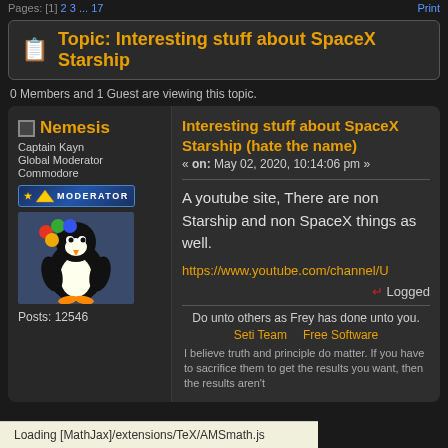Pages: [1] 2 3 ... 17
Topic: Interesting stuff about SpaceX Starship
0 Members and 1 Guest are viewing this topic.
Nemesis
Captain Kayn
Global Moderator
Commodore
Posts: 12546
Interesting stuff about SpaceX Starship (hate the name)
« on: May 02, 2020, 10:14:06 pm »
A youtube site,  There are non Starship and non SpaceX things as well.
https://www.youtube.com/channel/U
Logged
Do unto others as Frey has done unto you.
Seti Team    Free Software
I believe truth and principle do matter. If you have to sacrifice them to get the results you want, then the results aren't
Loading [MathJax]/extensions/TeX/AMSmath.js